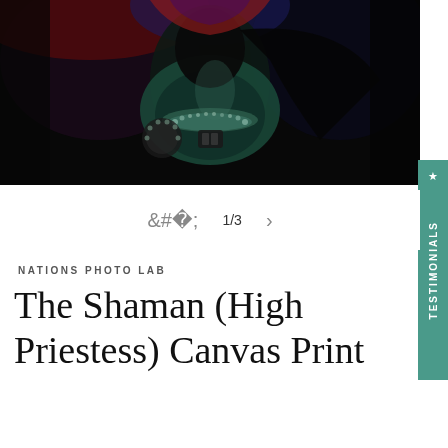[Figure (photo): Dark artistic photograph of a figure in ceremonial/shamanic attire with ornate jewelry and headdress, against a dark background. The figure wears elaborate beaded necklaces and holds decorated items. Colors are predominantly dark with green and teal tones.]
1/3
NATIONS PHOTO LAB
The Shaman (High Priestess) Canvas Print